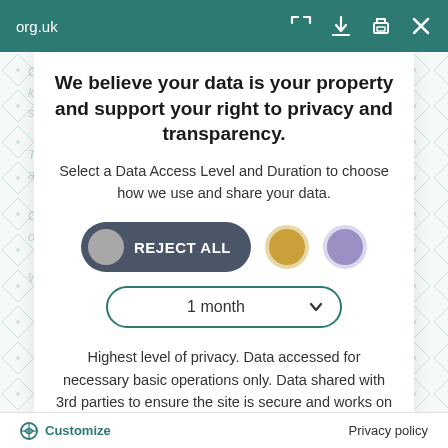org.uk
We believe your data is your property and support your right to privacy and transparency.
Select a Data Access Level and Duration to choose how we use and share your data.
[Figure (infographic): Privacy consent UI with REJECT ALL toggle pill button, two colored circles (gold and purple), and a dropdown selector showing '1 month']
Highest level of privacy. Data accessed for necessary basic operations only. Data shared with 3rd parties to ensure the site is secure and works on your device
Save my preferences
Customize    Privacy policy